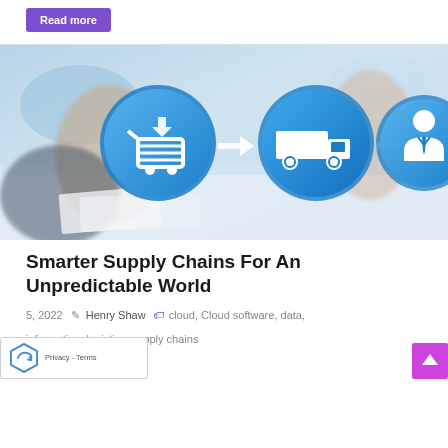Read more
[Figure (illustration): Supply chain concept image showing three blue circle icons: shopping cart with download arrow, delivery truck, and business person, connected by arrows, overlaid on a photo of hands working on a tablet with documents]
Smarter Supply Chains For An Unpredictable World
5, 2022  Henry Shaw  cloud, Cloud software, data, information, logistics, supply chains